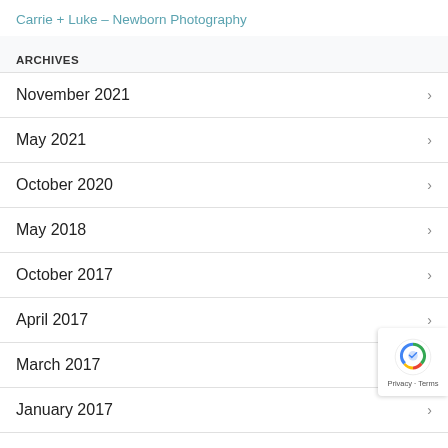Carrie + Luke – Newborn Photography
ARCHIVES
November 2021
May 2021
October 2020
May 2018
October 2017
April 2017
March 2017
January 2017
December 2016
November 2016